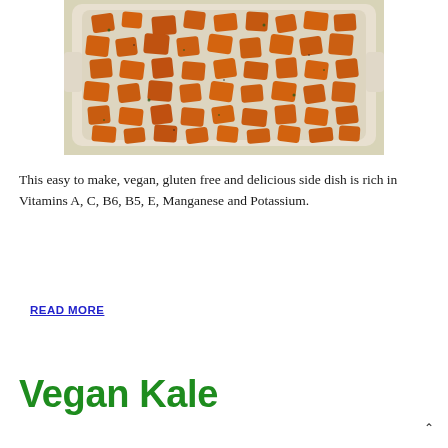[Figure (photo): Overhead view of roasted sweet potato cubes in a rectangular cream-colored ceramic baking dish, seasoned with herbs and spices, placed on a light patterned cloth.]
This easy to make, vegan, gluten free and delicious side dish is rich in Vitamins A, C, B6, B5, E, Manganese and Potassium.
READ MORE
Vegan Kale